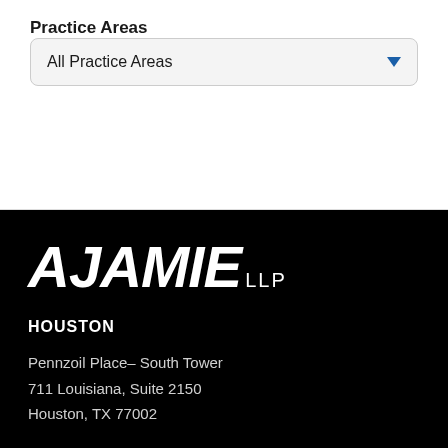Practice Areas
[Figure (screenshot): Dropdown selector UI element labeled 'All Practice Areas' with a blue downward arrow on the right side, styled with rounded border on light gray background]
[Figure (logo): AJAMIE LLP law firm logo in white bold italic text on black background]
HOUSTON
Pennzoil Place– South Tower
711 Louisiana, Suite 2150
Houston, TX 77002